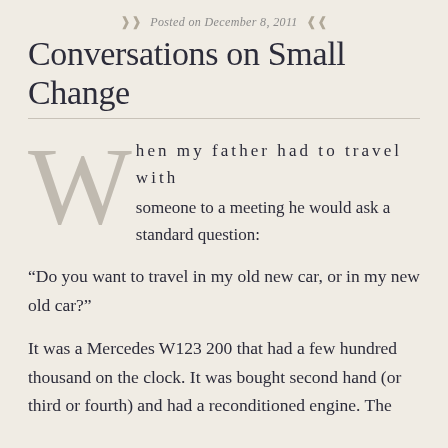Posted on December 8, 2011
Conversations on Small Change
When my father had to travel with someone to a meeting he would ask a standard question:
“Do you want to travel in my old new car, or in my new old car?”
It was a Mercedes W123 200 that had a few hundred thousand on the clock. It was bought second hand (or third or fourth) and had a reconditioned engine.  The